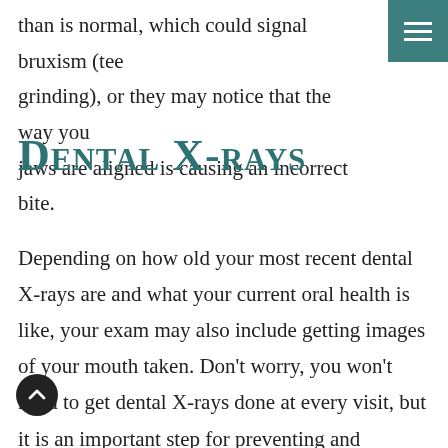than is normal, which could signal bruxism (teeth grinding), or they may notice that the way your jaws are aligned is causing an incorrect bite.
Dental X-rays
Depending on how old your most recent dental X-rays are and what your current oral health is like, your exam may also include getting images of your mouth taken. Don't worry, you won't need to get dental X-rays done at every visit, but it is an important step for preventing and diagnosing certain conditions.